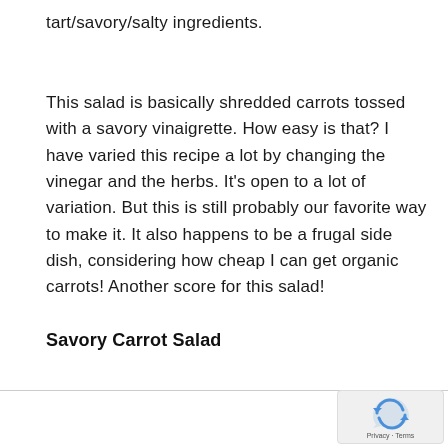tart/savory/salty ingredients.
This salad is basically shredded carrots tossed with a savory vinaigrette. How easy is that? I have varied this recipe a lot by changing the vinegar and the herbs. It’s open to a lot of variation. But this is still probably our favorite way to make it. It also happens to be a frugal side dish, considering how cheap I can get organic carrots! Another score for this salad!
Savory Carrot Salad
[Figure (logo): reCAPTCHA badge with Privacy and Terms text]